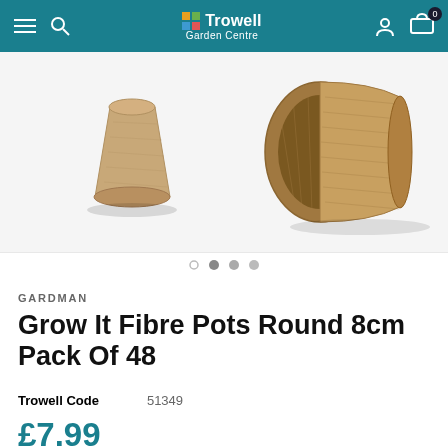Trowell Garden Centre — navigation bar
[Figure (photo): Close-up photo of two brown fibre/coir plant pots, one upright and one tipped on its side showing the textured interior, against a white background.]
GARDMAN
Grow It Fibre Pots Round 8cm Pack Of 48
Trowell Code   51349
£7.99